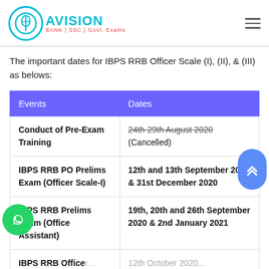Avision — BANK | SSC | Govt. Exams
The important dates for IBPS RRB Officer Scale (I), (II), & (III) as belows:
| Events | Dates |
| --- | --- |
| Conduct of Pre-Exam Training | 24th-29th August 2020 (Cancelled) |
| IBPS RRB PO Prelims Exam (Officer Scale-I) | 12th and 13th September 2020 & 31st December 2020 |
| IBPS RRB Prelims Exam (Office Assistant) | 19th, 20th and 26th September 2020 & 2nd January 2021 |
| IBPS RRB Officer... | 12th October 2020... |